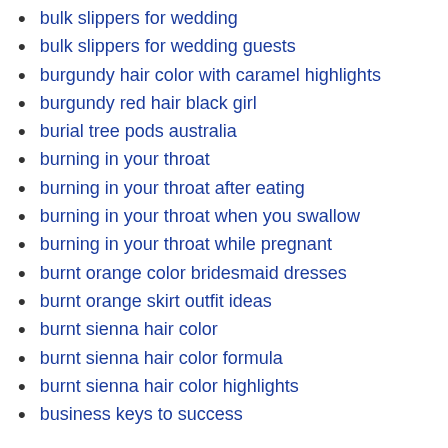bulk slippers for wedding
bulk slippers for wedding guests
burgundy hair color with caramel highlights
burgundy red hair black girl
burial tree pods australia
burning in your throat
burning in your throat after eating
burning in your throat when you swallow
burning in your throat while pregnant
burnt orange color bridesmaid dresses
burnt orange skirt outfit ideas
burnt sienna hair color
burnt sienna hair color formula
burnt sienna hair color highlights
business keys to success